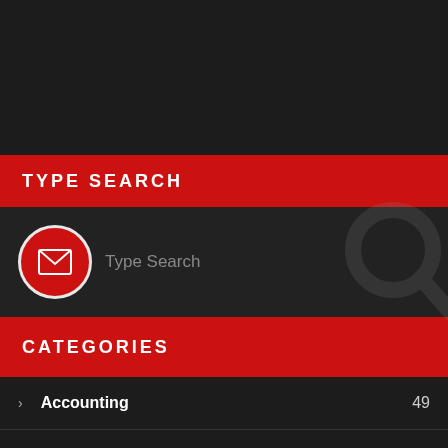TYPE SEARCH
[Figure (screenshot): Search input field with envelope icon circle on the left (red background, white envelope icon), placeholder text 'Type Search', and a large magnifying glass icon watermark on the right]
CATEGORIES
Accounting  49
Android  33